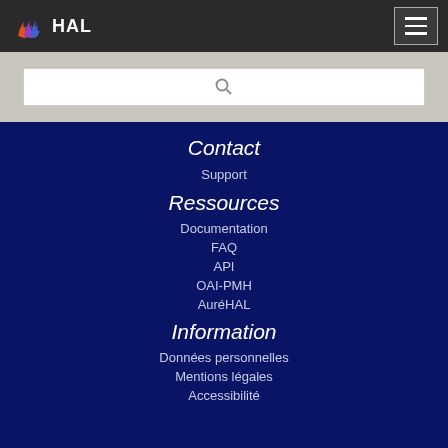HAL
[Figure (screenshot): HAL website search bar area with light grey background and white search input box]
Contact
Support
Ressources
Documentation
FAQ
API
OAI-PMH
AuréHAL
Information
Données personnelles
Mentions légales
Accessibilité